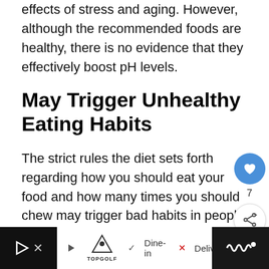effects of stress and aging. However, although the recommended foods are healthy, there is no evidence that they effectively boost pH levels.
May Trigger Unhealthy Eating Habits
The strict rules the diet sets forth regarding how you should eat your food and how many times you should chew may trigger bad habits in people with disordered eating.
[Figure (other): Social media floating UI: heart/like button with count 7, and share button]
[Figure (other): What's Next card with thumbnail image, label 'WHAT'S NEXT ->', and text 'Meet Your Personal...']
[Figure (other): Advertisement bar at bottom: TopGolf logo, Dine-in and Delivery options, navigation and media controls]